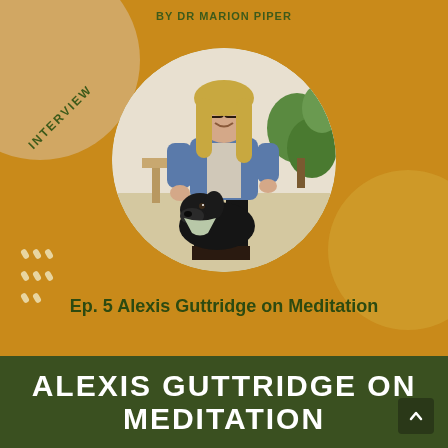BY DR MARION PIPER
INTERVIEW
[Figure (photo): Circular photo of a woman with long blonde hair and glasses, wearing a denim jacket, crouching next to a large black Labrador dog wearing a bandana, in a room with plants and wooden furniture]
Ep. 5 Alexis Guttridge on Meditation
ALEXIS GUTTRIDGE ON MEDITATION